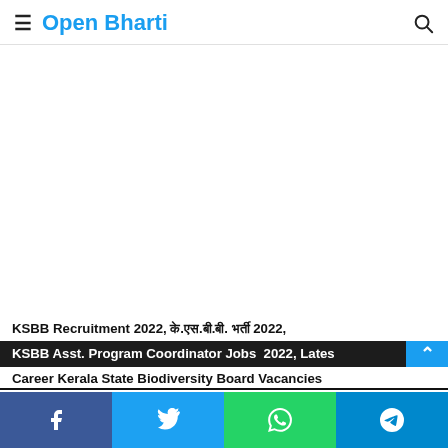Open Bharti
[Figure (other): Advertisement banner area (blank white space)]
KSBB Recruitment 2022, के.एस.बी.बी. भर्ती 2022, KSBB Asst. Program Coordinator Jobs 2022, Latest Career Kerala State Biodiversity Board Vacancies
Facebook, Twitter, WhatsApp, Telegram share buttons